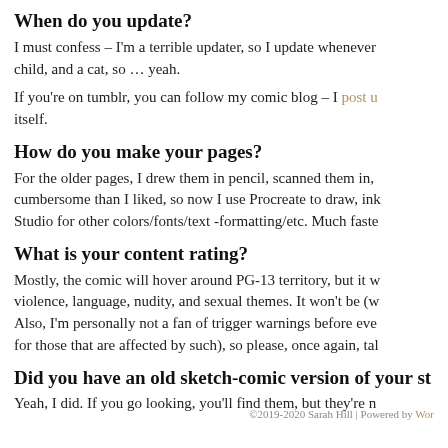When do you update?
I must confess – I'm a terrible updater, so I update whenever… child, and a cat, so … yeah.
If you're on tumblr, you can follow my comic blog – I post u… itself.
How do you make your pages?
For the older pages, I drew them in pencil, scanned them in, cumbersome than I liked, so now I use Procreate to draw, ink… Studio for other colors/fonts/text -formatting/etc. Much faste…
What is your content rating?
Mostly, the comic will hover around PG-13 territory, but it w… violence, language, nudity, and sexual themes. It won't be (w… Also, I'm personally not a fan of trigger warnings before eve… for those that are affected by such), so please, once again, tal…
Did you have an old sketch-comic version of your st…
Yeah, I did. If you go looking, you'll find them, but they're n…
©2019-2020 Sarah Hill | Powered by Wor…